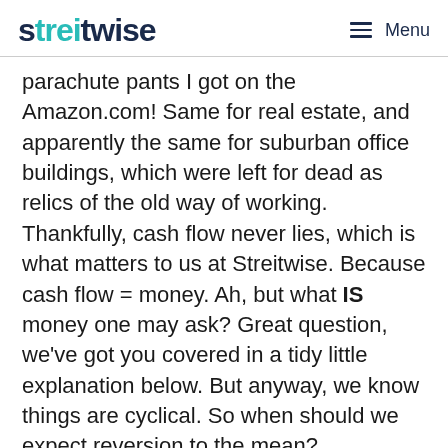streitwise — Menu
parachute pants I got on the Amazon.com! Same for real estate, and apparently the same for suburban office buildings, which were left for dead as relics of the old way of working. Thankfully, cash flow never lies, which is what matters to us at Streitwise. Because cash flow = money. Ah, but what IS money one may ask? Great question, we've got you covered in a tidy little explanation below. But anyway, we know things are cyclical. So when should we expect reversion to the mean?